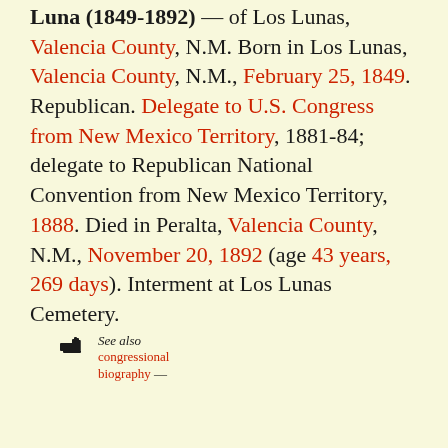Luna (1849-1892) — of Los Lunas, Valencia County, N.M. Born in Los Lunas, Valencia County, N.M., February 25, 1849. Republican. Delegate to U.S. Congress from New Mexico Territory, 1881-84; delegate to Republican National Convention from New Mexico Territory, 1888. Died in Peralta, Valencia County, N.M., November 20, 1892 (age 43 years, 269 days). Interment at Los Lunas Cemetery.
See also congressional biography —